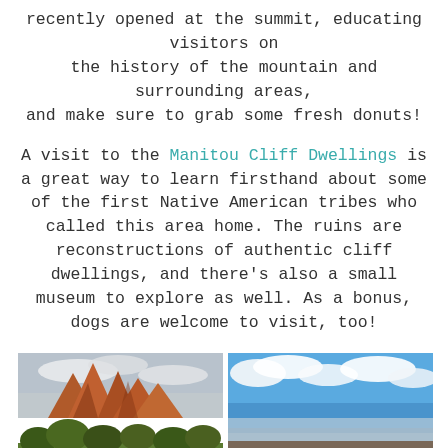recently opened at the summit, educating visitors on the history of the mountain and surrounding areas, and make sure to grab some fresh donuts!
A visit to the Manitou Cliff Dwellings is a great way to learn firsthand about some of the first Native American tribes who called this area home. The ruins are reconstructions of authentic cliff dwellings, and there's also a small museum to explore as well. As a bonus, dogs are welcome to visit, too!
[Figure (photo): Rocky red-orange spire formations (Garden of the Gods style) with green trees in foreground, cloudy sky]
[Figure (photo): Rocky mountain summit with large boulders in foreground, expansive valley view below, blue sky with white clouds]
North Cheyenne Cañon Park is a popular hiking destination in Colorado Springs, offering lots of trails